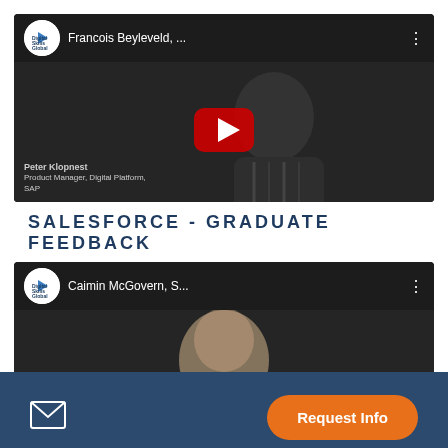[Figure (screenshot): YouTube video thumbnail for 'Francois Beyleveld, ...' from Digital Skills Global channel, with play button overlay and person's lower-third label 'Peter Klopnest, Product Manager, Digital Platform, SAP']
SALESFORCE - GRADUATE FEEDBACK
[Figure (screenshot): YouTube video thumbnail for 'Caimin McGovern, S...' from Digital Skills Global channel, partially visible at bottom]
Request Info